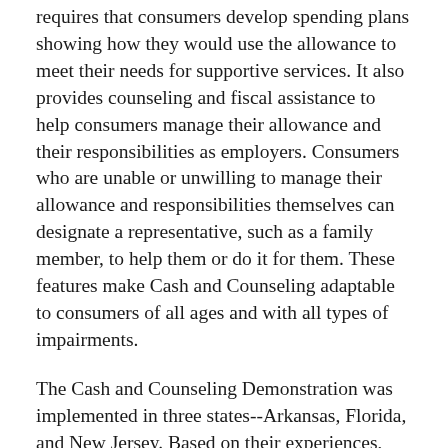requires that consumers develop spending plans showing how they would use the allowance to meet their needs for supportive services. It also provides counseling and fiscal assistance to help consumers manage their allowance and their responsibilities as employers. Consumers who are unable or unwilling to manage their allowance and responsibilities themselves can designate a representative, such as a family member, to help them or do it for them. These features make Cash and Counseling adaptable to consumers of all ages and with all types of impairments.
The Cash and Counseling Demonstration was implemented in three states--Arkansas, Florida, and New Jersey. Based on their experiences, this paper draws lessons on designing and implementing a Cash and Counseling program, to provide information useful to states thinking of adopting such a program.